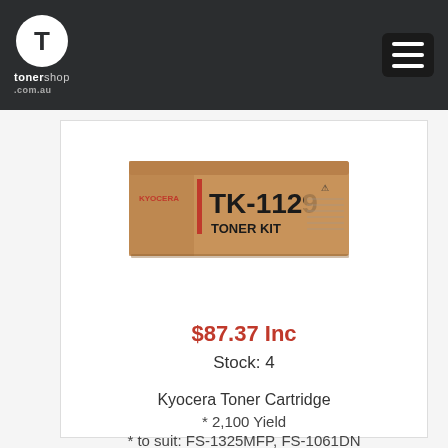tonershop
[Figure (photo): Kyocera TK-1129 Toner Kit product box, cardboard brown box with black text showing brand KYOCERA, model TK-1129, and TONER KIT label]
$87.37 Inc
Stock: 4
Kyocera Toner Cartridge
* 2,100 Yield
* to suit: FS-1325MFP, FS-1061DN